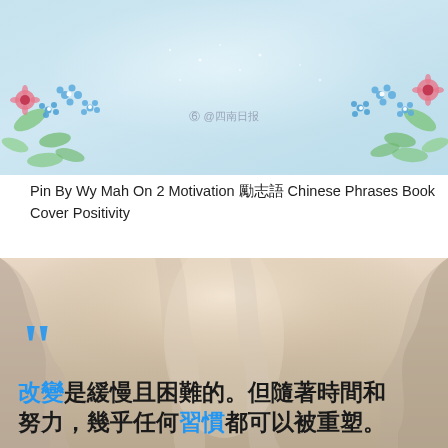[Figure (illustration): Decorative Chinese-style image with light blue watercolor background, floral decorations (blue forget-me-not flowers and pink/red flowers) in corners, and a Weibo watermark in the center.]
Pin By Wy Mah On 2 Motivation 勵志語 Chinese Phrases Book Cover Positivity
[Figure (photo): Canyon rock formation photo with soft flowing sandstone walls in beige, cream, and peach tones. Overlaid with large blue quotation marks and Chinese motivational text: '改變是緩慢且困難的。但隨著時間和努力，幾乎任何習慣都可以被重塑。' where '改變' and '習慣' are highlighted in blue.]